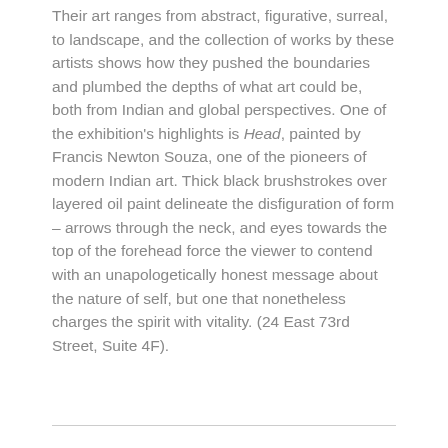Their art ranges from abstract, figurative, surreal, to landscape, and the collection of works by these artists shows how they pushed the boundaries and plumbed the depths of what art could be, both from Indian and global perspectives. One of the exhibition's highlights is Head, painted by Francis Newton Souza, one of the pioneers of modern Indian art. Thick black brushstrokes over layered oil paint delineate the disfiguration of form – arrows through the neck, and eyes towards the top of the forehead force the viewer to contend with an unapologetically honest message about the nature of self, but one that nonetheless charges the spirit with vitality. (24 East 73rd Street, Suite 4F).